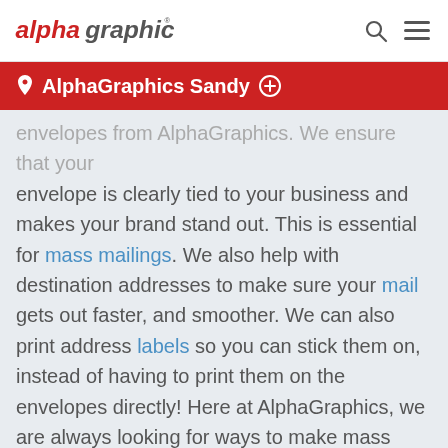AlphaGraphics [logo]
AlphaGraphics Sandy +
envelopes from AlphaGraphics. We ensure that your envelope is clearly tied to your business and makes your brand stand out. This is essential for mass mailings. We also help with destination addresses to make sure your mail gets out faster, and smoother. We can also print address labels so you can stick them on, instead of having to print them on the envelopes directly! Here at AlphaGraphics, we are always looking for ways to make mass mailings easier for you.